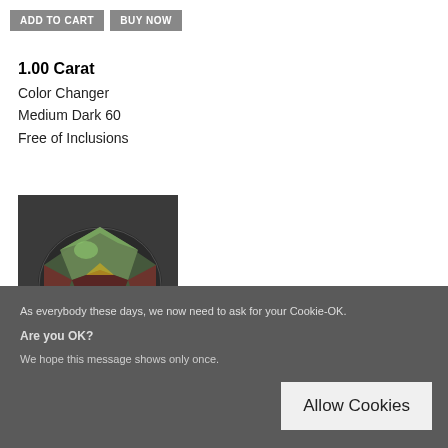ADD TO CART
BUY NOW
1.00 Carat
Color Changer
Medium Dark 60
Free of Inclusions
[Figure (photo): Close-up photograph of a color-changing gemstone with green and red hues, showing faceted cuts, placed on a dark background.]
As everybody these days, we now need to ask for your Cookie-OK.
Are you OK?
We hope this message shows only once.
Allow Cookies